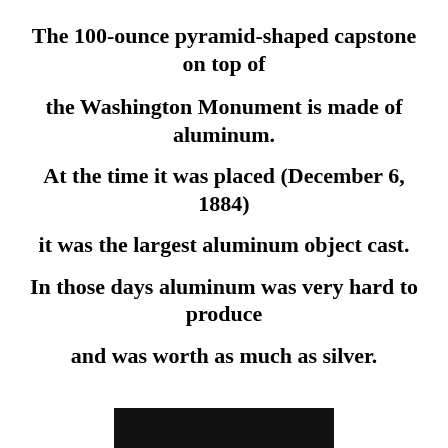The 100-ounce pyramid-shaped capstone on top of
the Washington Monument is made of aluminum.
At the time it was placed (December 6, 1884)
it was the largest aluminum object cast.
In those days aluminum was very hard to produce
and was worth as much as silver.
[Figure (photo): Dark/black image strip at bottom of page, partially visible]